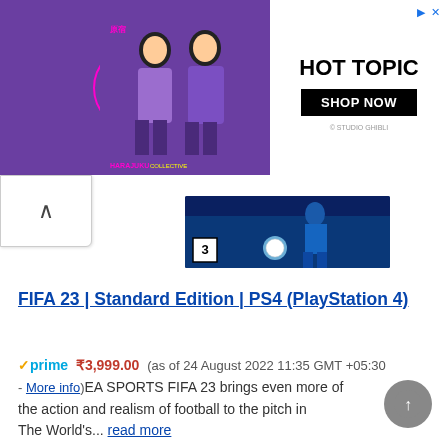[Figure (screenshot): Advertisement banner for Hot Topic featuring Harajuku Collective branding with two figures in purple outfits on left, and Hot Topic Shop Now button on right. A partially visible FIFA 23 game cover appears below the ad.]
FIFA 23 | Standard Edition | PS4 (PlayStation 4)
✓prime ₹3,999.00 (as of 24 August 2022 11:35 GMT +05:30 - More info)EA SPORTS FIFA 23 brings even more of the action and realism of football to the pitch in The World's... read more